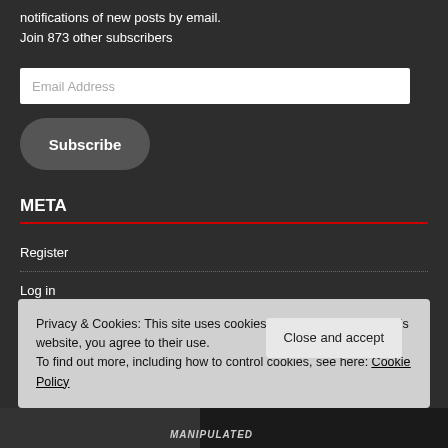notifications of new posts by email.
Join 873 other subscribers
Email Address
Subscribe
META
Register
Log in
Entries feed
Comments feed
Privacy & Cookies: This site uses cookies. By continuing to use this website, you agree to their use.
To find out more, including how to control cookies, see here: Cookie Policy
Close and accept
MANIPULATED